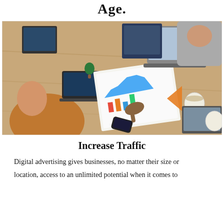Age.
[Figure (photo): Overhead view of business meeting at a wooden table with laptops, charts, phones, and coffee cups. A person in a tan/orange shirt is pointing at printed analytics reports.]
Increase Traffic
Digital advertising gives businesses, no matter their size or location, access to an unlimited potential when it comes to